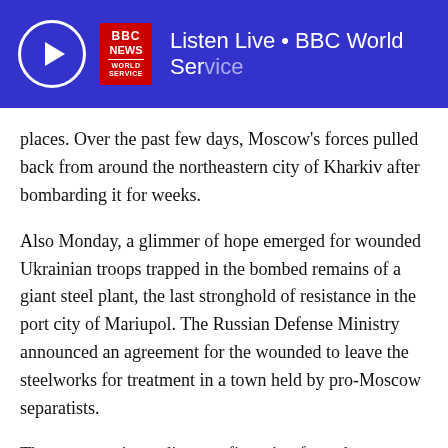Listen Live • BBC World Service
places. Over the past few days, Moscow's forces pulled back from around the northeastern city of Kharkiv after bombarding it for weeks.
Also Monday, a glimmer of hope emerged for wounded Ukrainian troops trapped in the bombed remains of a giant steel plant, the last stronghold of resistance in the port city of Mariupol. The Russian Defense Ministry announced an agreement for the wounded to leave the steelworks for treatment in a town held by pro-Moscow separatists.
There was no immediate confirmation from the Ukrainian side, and there was no word on whether the wounded would be considered prisoners of war. Nor was it clear how many fighters might be evacuated.